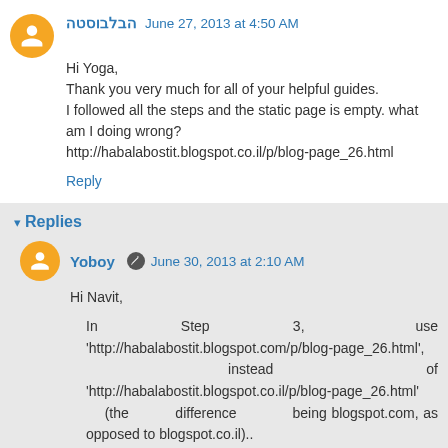הבלבוסטה  June 27, 2013 at 4:50 AM
Hi Yoga,
Thank you very much for all of your helpful guides.
I followed all the steps and the static page is empty. what am I doing wrong?
http://habalabostit.blogspot.co.il/p/blog-page_26.html
Reply
Replies
Yoboy  June 30, 2013 at 2:10 AM
Hi Navit,
In Step 3, use 'http://habalabostit.blogspot.com/p/blog-page_26.html', instead of 'http://habalabostit.blogspot.co.il/p/blog-page_26.html' (the difference being blogspot.com, as opposed to blogspot.co.il)..